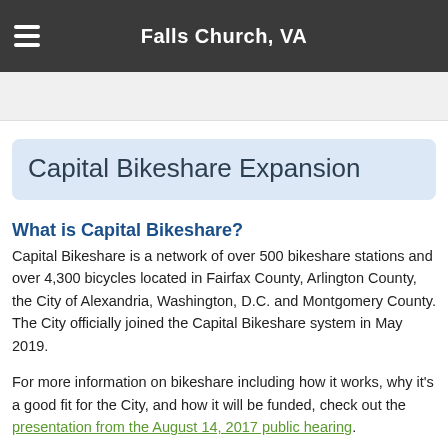Falls Church, VA
Capital Bikeshare Expansion
What is Capital Bikeshare?
Capital Bikeshare is a network of over 500 bikeshare stations and over 4,300 bicycles located in Fairfax County, Arlington County, the City of Alexandria, Washington, D.C. and Montgomery County. The City officially joined the Capital Bikeshare system in May 2019.
For more information on bikeshare including how it works, why it's a good fit for the City, and how it will be funded, check out the presentation from the August 14, 2017 public hearing.
[Figure (photo): Outdoor photo showing street lamp poles and trees with a bikeshare solar panel kiosk visible]